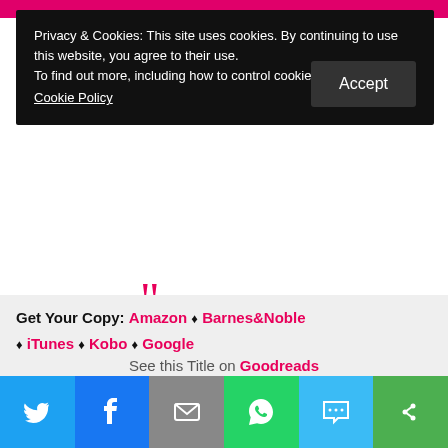Privacy & Cookies: This site uses cookies. By continuing to use this website, you agree to their use.
To find out more, including how to control cookies, see here:
Cookie Policy
Get Your Copy: Amazon ♦ Barnes&Noble ♦ iTunes ♦ Kobo ♦ Google
See this Title on Goodreads
Meet Zara Bailey, a travel writer paid to cover some of the globe's most luxurious locations. Jetting from wooden huts on stilts in turquoise seas to boutique hotels with roaring fires to 7* penthouse suites with panoramic views of the world's most glamorous cities... Zara knows hers is the definition of a dream job!
Twitter  Facebook  Email  WhatsApp  SMS  More